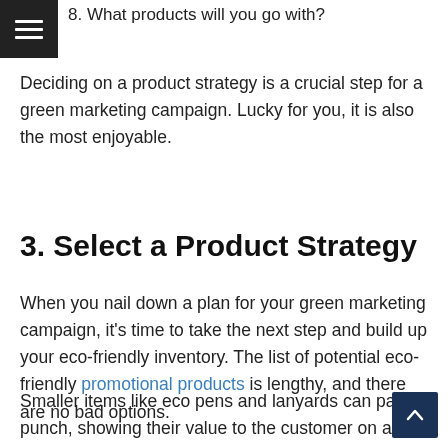8. What products will you go with?
Deciding on a product strategy is a crucial step for a green marketing campaign. Lucky for you, it is also the most enjoyable.
3. Select a Product Strategy
When you nail down a plan for your green marketing campaign, it’s time to take the next step and build up your eco-friendly inventory. The list of potential eco-friendly promotional products is lengthy, and there are no bad options.
Smaller items like eco pens and lanyards can pack a punch, showing their value to the customer on a day-to-day basis. If you opt to go with reusable bags, there are a variety of eco-friendly materials to choose from.